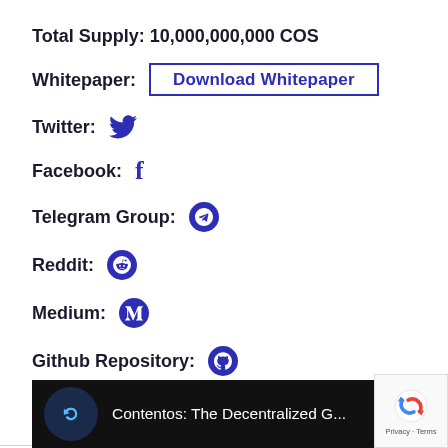Total Supply: 10,000,000,000 COS
Whitepaper: Download Whitepaper
Twitter: [Twitter bird icon]
Facebook: [Facebook f icon]
Telegram Group: [Telegram icon]
Reddit: [Reddit icon]
Medium: [Medium icon]
Github Repository: [GitHub icon]
Video
[Figure (screenshot): Video thumbnail showing Contentos logo (blue C icon) and text: Contentos: The Decentralized G...]